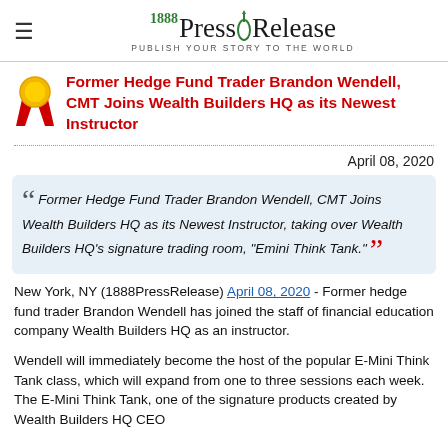1888 PressRelease — PUBLISH YOUR STORY TO THE WORLD
Former Hedge Fund Trader Brandon Wendell, CMT Joins Wealth Builders HQ as its Newest Instructor
April 08, 2020
Former Hedge Fund Trader Brandon Wendell, CMT Joins Wealth Builders HQ as its Newest Instructor, taking over Wealth Builders HQ's signature trading room, "Emini Think Tank."
New York, NY (1888PressRelease) April 08, 2020 - Former hedge fund trader Brandon Wendell has joined the staff of financial education company Wealth Builders HQ as an instructor.
Wendell will immediately become the host of the popular E-Mini Think Tank class, which will expand from one to three sessions each week. The E-Mini Think Tank, one of the signature products created by Wealth Builders HQ CEO